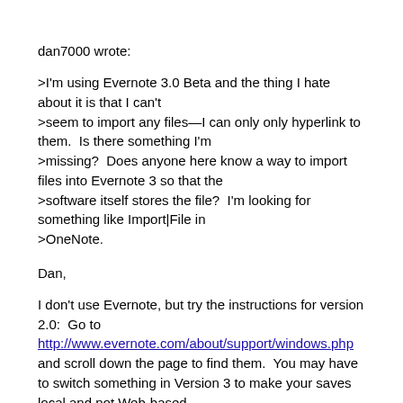dan7000 wrote:
>I'm using Evernote 3.0 Beta and the thing I hate about it is that I can't
>seem to import any files—I can only only hyperlink to them.  Is there something I'm
>missing?  Does anyone here know a way to import files into Evernote 3 so that the
>software itself stores the file?  I'm looking for something like Import|File in
>OneNote.
Dan,
I don't use Evernote, but try the instructions for version 2.0:  Go to http://www.evernote.com/about/support/windows.php and scroll down the page to find them.  You may have to switch something in Version 3 to make your saves local and not Web-based.
Good luck!